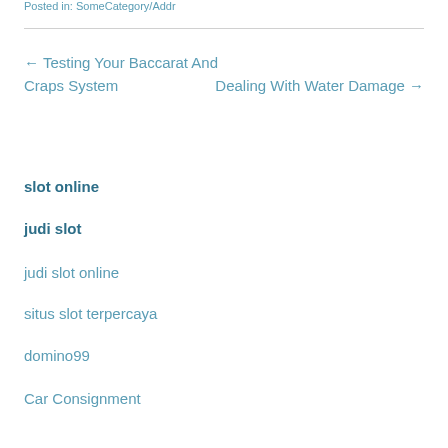Posted in: SomeCategory/Addr
← Testing Your Baccarat And Craps System    Dealing With Water Damage →
slot online
judi slot
judi slot online
situs slot terpercaya
domino99
Car Consignment